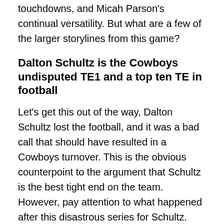touchdowns, and Micah Parson's continual versatility. But what are a few of the larger storylines from this game?
Dalton Schultz is the Cowboys undisputed TE1 and a top ten TE in football
Let's get this out of the way, Dalton Schultz lost the football, and it was a bad call that should have resulted in a Cowboys turnover. This is the obvious counterpoint to the argument that Schultz is the best tight end on the team. However, pay attention to what happened after this disastrous series for Schultz.
After putting the ball on the ground twice in the span of three plays (one not a fumble, the other a fumble), it would have been reasonable for Dallas to trust Blake Jarwin for the remainder of the game. However, when the final whistle blew, Schultz had out-snapped Jarwin